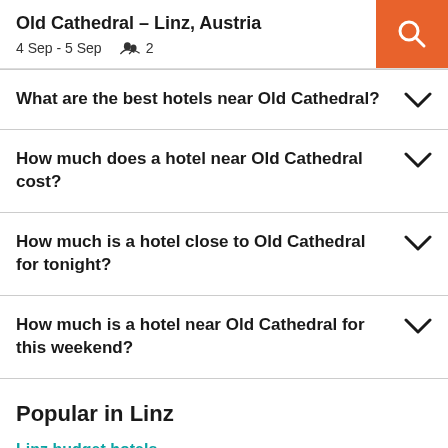Old Cathedral – Linz, Austria
4 Sep - 5 Sep   2
What are the best hotels near Old Cathedral?
How much does a hotel near Old Cathedral cost?
How much is a hotel close to Old Cathedral for tonight?
How much is a hotel near Old Cathedral for this weekend?
Popular in Linz
Linz budget hotels